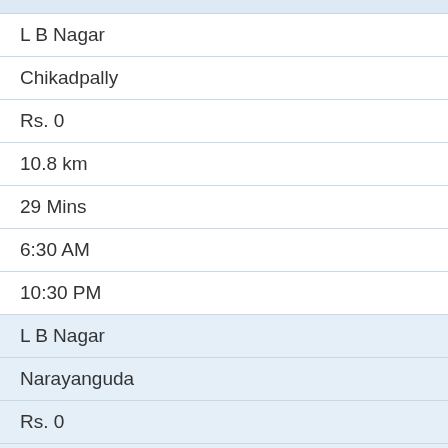L B Nagar
Chikadpally
Rs. 0
10.8 km
29 Mins
6:30 AM
10:30 PM
L B Nagar
Narayanguda
Rs. 0
10.2 km
26 Mins